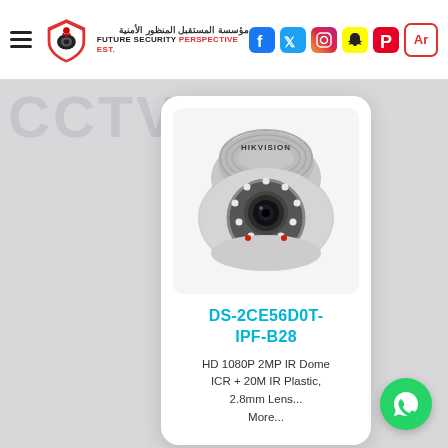Future Security Perspective Est. — مؤسسة المستقبل المنظور الأمنية
[Figure (photo): Hikvision dome CCTV security camera, white, with IR LEDs around the lens, viewed from front-angle]
DS-2CE56D0T-IPF-B28
HD 1080P 2MP IR Dome ICR + 20M IR Plastic, 2.8mm Lens... More...